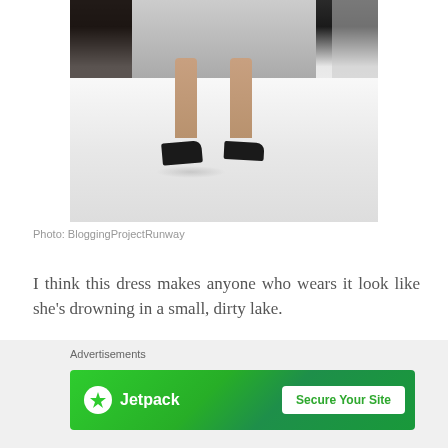[Figure (photo): Fashion runway photo showing a model's legs from mid-thigh down wearing black high heel shoes, walking on a white runway with darkened audience in background]
Photo: BloggingProjectRunway
I think this dress makes anyone who wears it look like she's drowning in a small, dirty lake.
Advertisements
[Figure (other): Jetpack advertisement banner with green background showing Jetpack logo and 'Secure Your Site' button]